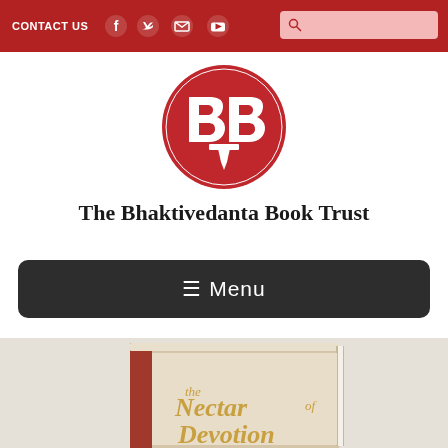CONTACT US
[Figure (logo): The Bhaktivedanta Book Trust circular red logo with stylized B and T letters]
The Bhaktivedanta Book Trust
≡ Menu
[Figure (photo): Book cover of 'the Nectar of Devotion' with red and cream colored hardcover, partially visible at bottom of page]